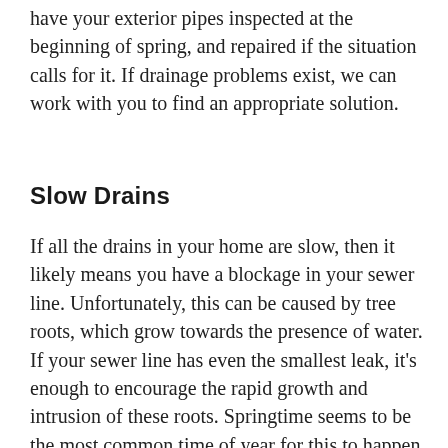have your exterior pipes inspected at the beginning of spring, and repaired if the situation calls for it. If drainage problems exist, we can work with you to find an appropriate solution.
Slow Drains
If all the drains in your home are slow, then it likely means you have a blockage in your sewer line. Unfortunately, this can be caused by tree roots, which grow towards the presence of water. If your sewer line has even the smallest leak, it's enough to encourage the rapid growth and intrusion of these roots. Springtime seems to be the most common time of year for this to happen.